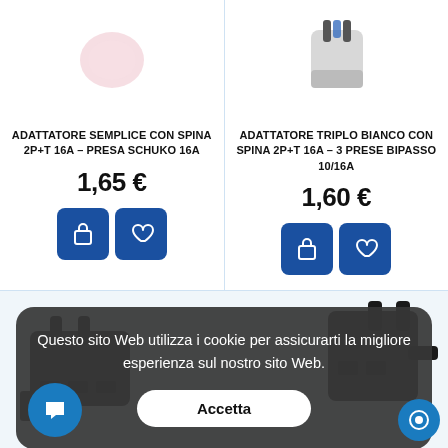[Figure (photo): Product photo of white plug adapter (partially visible at top)]
ADATTATORE SEMPLICE CON SPINA 2P+T 16A – PRESA SCHUKO 16A
1,65 €
[Figure (photo): Product photo of gray triple plug adapter (partially visible at top)]
ADATTATORE TRIPLO Bianco CON SPINA 2P+T 16A – 3 PRESE BIPASSO 10/16A
1,60 €
[Figure (photo): Product photo of dark gray multi-plug adapter bottom left]
[Figure (photo): Product photo of dark gray multi-plug adapter bottom right]
Questo sito Web utilizza i cookie per assicurarti la migliore esperienza sul nostro sito Web.
Accetta